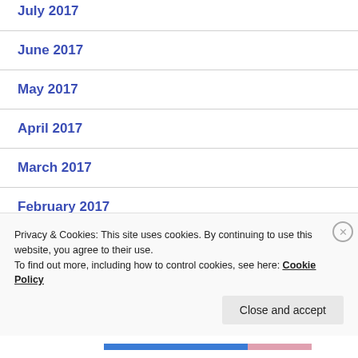July 2017
June 2017
May 2017
April 2017
March 2017
February 2017
January 2017
December 2016
Privacy & Cookies: This site uses cookies. By continuing to use this website, you agree to their use.
To find out more, including how to control cookies, see here: Cookie Policy